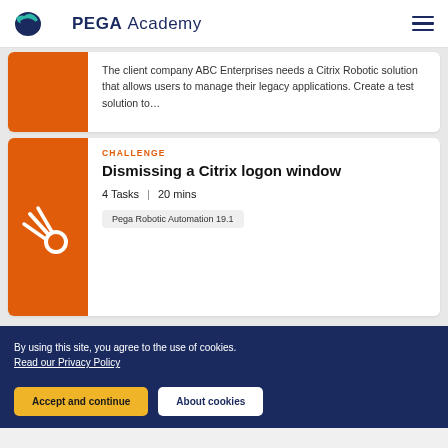PEGA Academy
The client company ABC Enterprises needs a Citrix Robotic solution that allows users to manage their legacy applications. Create a test solution to...
CHALLENGE
Dismissing a Citrix logon window
4 Tasks | 20 mins
Pega Robotic Automation 19.1
By using this site, you agree to the use of cookies. Read our Privacy Policy
Accept and continue
About cookies